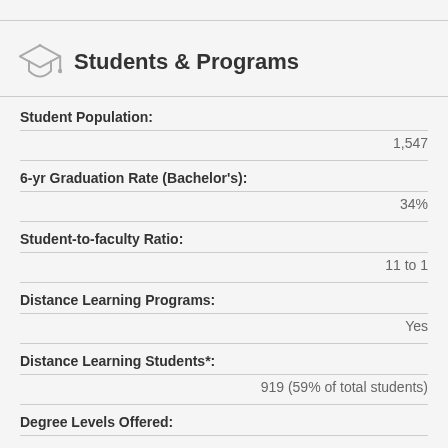Students & Programs
Student Population:
1,547
6-yr Graduation Rate (Bachelor's):
34%
Student-to-faculty Ratio:
11 to 1
Distance Learning Programs:
Yes
Distance Learning Students*:
919 (59% of total students)
Degree Levels Offered:
Certificates, Associates, Bachelor's, Master's, Doctorate